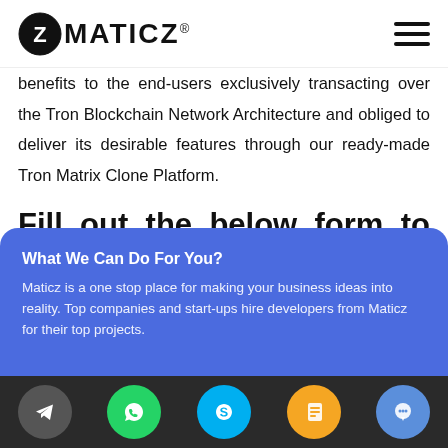MATICZ
benefits to the end-users exclusively transacting over the Tron Blockchain Network Architecture and obliged to deliver its desirable features through our ready-made Tron Matrix Clone Platform.
Fill out the below form to connect with our experts for a technical demo.
What We Can Do For You?
Maticz is a one stop place for making your business ideas into reality. Top companies and start-ups hire developers from Maticz for their top projects.